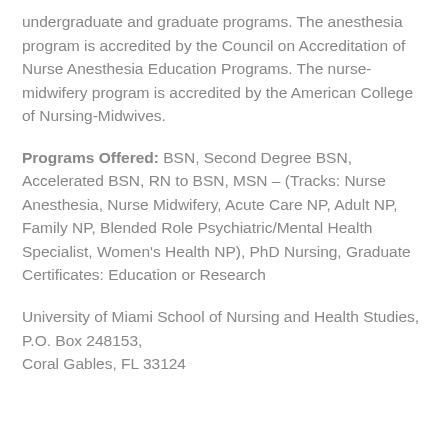undergraduate and graduate programs. The anesthesia program is accredited by the Council on Accreditation of Nurse Anesthesia Education Programs. The nurse-midwifery program is accredited by the American College of Nursing-Midwives.
Programs Offered: BSN, Second Degree BSN, Accelerated BSN, RN to BSN, MSN – (Tracks: Nurse Anesthesia, Nurse Midwifery, Acute Care NP, Adult NP, Family NP, Blended Role Psychiatric/Mental Health Specialist, Women's Health NP), PhD Nursing, Graduate Certificates: Education or Research
University of Miami School of Nursing and Health Studies, P.O. Box 248153, Coral Gables, FL 33124